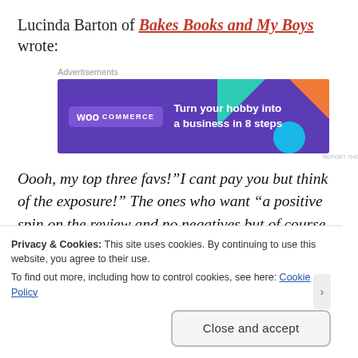Lucinda Barton of Bakes Books and My Boys wrote:
[Figure (screenshot): WooCommerce advertisement banner: purple background with WooCommerce logo on left, teal and orange decorative triangles, text 'Turn your hobby into a business in 8 steps']
Oooh, my top three favs!“I cant pay you but think of the exposure!” The ones who want “a positive spin on the review and no negatives but of course an honest review” the “, while I cant, send you the product to review please use this great photos to write up how
Privacy & Cookies: This site uses cookies. By continuing to use this website, you agree to their use.
To find out more, including how to control cookies, see here: Cookie Policy